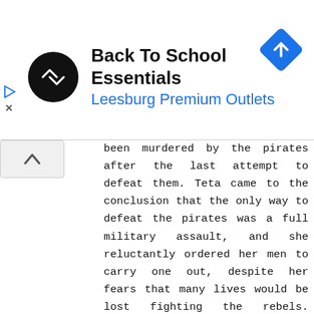[Figure (infographic): Advertisement banner for Back To School Essentials at Leesburg Premium Outlets, featuring a circular black logo with arrow symbol, blue navigation diamond icon on the right, and play/close controls on the left.]
been murdered by the pirates after the last attempt to defeat them. Teta came to the conclusion that the only way to defeat the pirates was a full military assault, and she reluctantly ordered her men to carry one out, despite her fears that many lives would be lost fighting the rebels. However, Odan-Urr managed to save a great many lives with his knowledge of an obscure branch of the Force known as battle meditation, a power which Ooroo was also capable of using. Odan-Urr helped Teta's forces achieve victory, and when Ooroo heard of his apprentice's achievements, he assigned the young Jedi Knight to stay on the Koros system to help Empress Teta restore order to the new